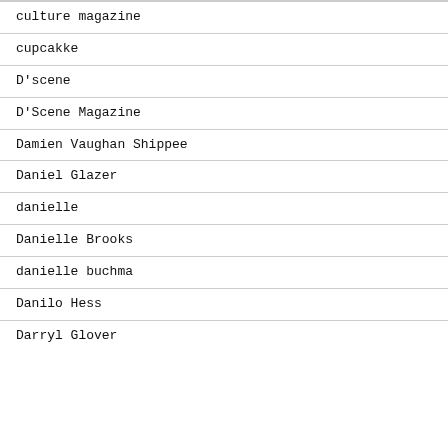culture magazine
cupcakke
D'scene
D'Scene Magazine
Damien Vaughan Shippee
Daniel Glazer
danielle
Danielle Brooks
danielle buchma
Danilo Hess
Darryl Glover